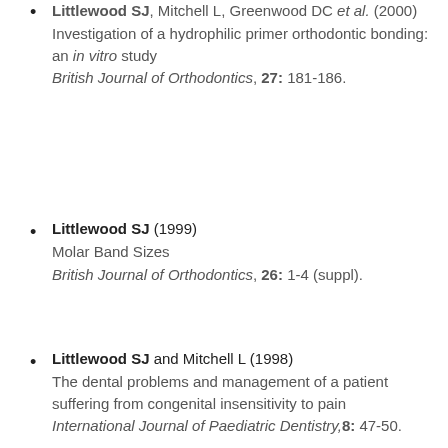Littlewood SJ, Mitchell L, Greenwood DC et al. (2000) Investigation of a hydrophilic primer orthodontic bonding: an in vitro study British Journal of Orthodontics, 27: 181-186.
Littlewood SJ (1999) Molar Band Sizes British Journal of Orthodontics, 26: 1-4 (suppl).
Littlewood SJ and Mitchell L (1998) The dental problems and management of a patient suffering from congenital insensitivity to pain International Journal of Paediatric Dentistry, 8: 47-50.